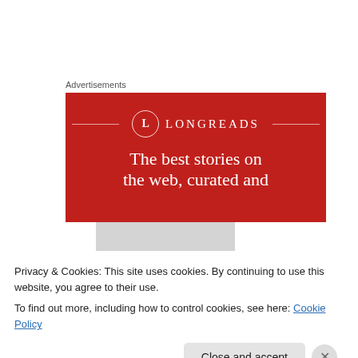Advertisements
[Figure (illustration): Longreads advertisement banner with red background, circular L logo, brand name LONGREADS, and tagline 'The best stories on the web, curated and...']
[Figure (photo): Person wearing a black helmet or hat, viewed from behind, grey/white blurred background]
Privacy & Cookies: This site uses cookies. By continuing to use this website, you agree to their use.
To find out more, including how to control cookies, see here: Cookie Policy
Close and accept